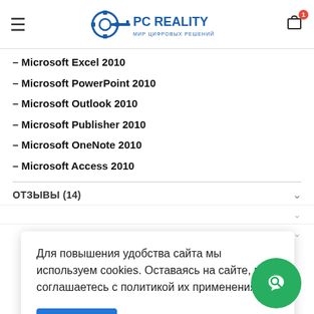PC REALITY — МИР ЦИФРОВЫХ РЕШЕНИЙ
– Microsoft Excel 2010
– Microsoft PowerPoint 2010
– Microsoft Outlook 2010
– Microsoft Publisher 2010
– Microsoft OneNote 2010
– Microsoft Access 2010
ОТЗЫВЫ (14)
Для повышения удобства сайта мы используем cookies. Оставаясь на сайте, вы соглашаетесь с политикой их применения.